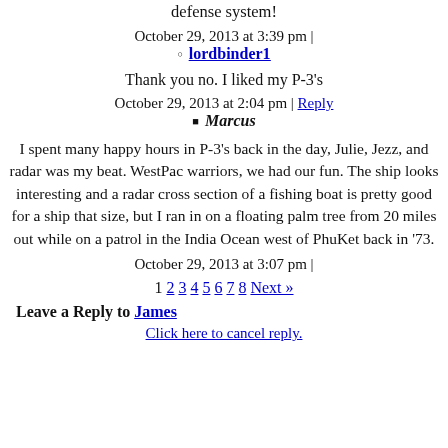defense system!
October 29, 2013 at 3:39 pm |
lordbinder1
Thank you no. I liked my P-3's
October 29, 2013 at 2:04 pm | Reply
Marcus
I spent many happy hours in P-3's back in the day, Julie, Jezz, and radar was my beat. WestPac warriors, we had our fun. The ship looks interesting and a radar cross section of a fishing boat is pretty good for a ship that size, but I ran in on a floating palm tree from 20 miles out while on a patrol in the India Ocean west of PhuKet back in '73.
October 29, 2013 at 3:07 pm |
1 2 3 4 5 6 7 8 Next »
Leave a Reply to James
Click here to cancel reply.